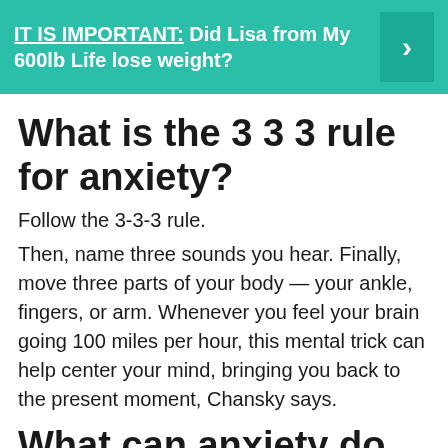[Figure (infographic): Teal/green banner with bold white text: IT IS IMPORTANT: Did Lisa from My 600lb Life lose weight? with a right arrow button on the right side.]
What is the 3 3 3 rule for anxiety?
Follow the 3-3-3 rule.
Then, name three sounds you hear. Finally, move three parts of your body — your ankle, fingers, or arm. Whenever you feel your brain going 100 miles per hour, this mental trick can help center your mind, bringing you back to the present moment, Chansky says.
What can anxiety do to your